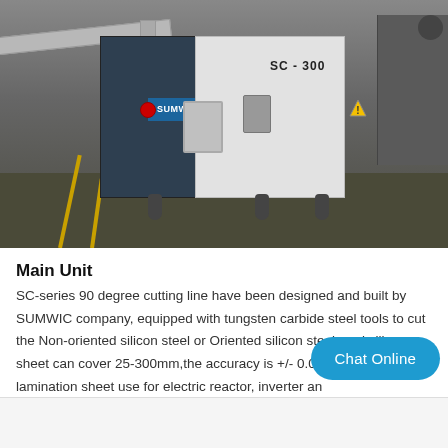[Figure (photo): Industrial SC-300 series 90 degree cutting line machine by SUMWIC company, shown in a factory setting on a concrete floor with yellow safety lines. The machine has a dark blue/grey left panel and white right cabinet with 'SC-300' label, control switches, and a warning sticker. A conveyor arm extends to the upper left.]
Main Unit
SC-series 90 degree cutting line have been designed and built by SUMWIC company, equipped with tungsten carbide steel tools to cut the Non-oriented silicon steel or Oriented silicon steel, and silicon sheet can cover 25-300mm,the accuracy is +/- 0.02 lamination sheet use for electric reactor, inverter an...